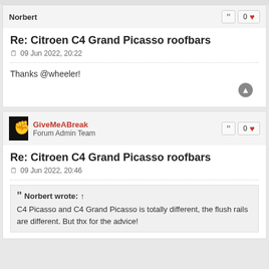Norbert
Re: Citroen C4 Grand Picasso roofbars
09 Jun 2022, 20:22
Thanks @wheeler!
GiveMeABreak
Forum Admin Team
Re: Citroen C4 Grand Picasso roofbars
09 Jun 2022, 20:46
Norbert wrote: ↑
C4 Picasso and C4 Grand Picasso is totally different, the flush rails are different. But thx for the advice!